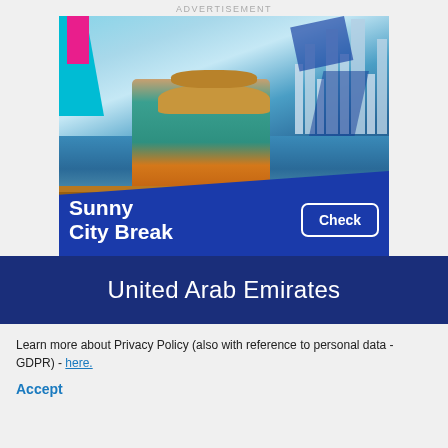ADVERTISEMENT
[Figure (photo): Advertisement banner showing a young woman with a hat and yellow sunglasses holding a phone and a drink, seated at an outdoor waterfront restaurant with a Dubai marina skyline in the background. Blue geometric shapes overlay the image. A blue diagonal banner at the bottom reads 'Sunny City Break' with a 'Check' button.]
United Arab Emirates
Learn more about Privacy Policy (also with reference to personal data - GDPR) - here.
Accept